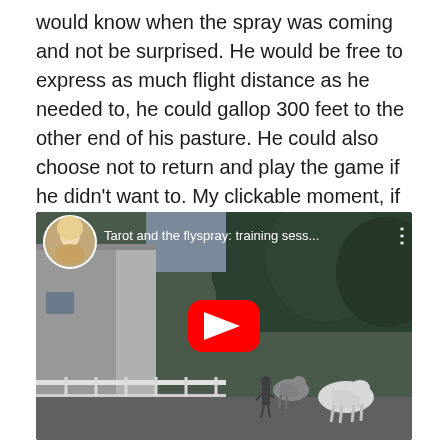would know when the spray was coming and not be surprised. He would be free to express as much flight distance as he needed to, he could gallop 300 feet to the other end of his pasture. He could also choose not to return and play the game if he didn't want to. My clickable moment, if offered, would be when he either stopped moving away or chose to turn and move toward the actively spraying fly spray. Here's what happened:
[Figure (screenshot): Embedded YouTube video thumbnail showing 'Tarot and the flyspray: training sess...' with a woman's avatar, a scene of horses in a paddock with trees and a building, and a red YouTube play button in the center.]